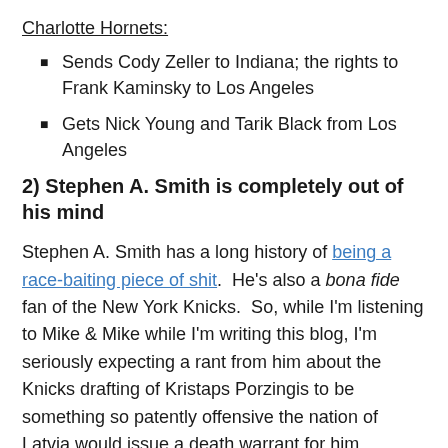Charlotte Hornets:
Sends Cody Zeller to Indiana; the rights to Frank Kaminsky to Los Angeles
Gets Nick Young and Tarik Black from Los Angeles
2) Stephen A. Smith is completely out of his mind
Stephen A. Smith has a long history of being a race-baiting piece of shit.  He's also a bona fide fan of the New York Knicks.  So, while I'm listening to Mike & Mike while I'm writing this blog, I'm seriously expecting a rant from him about the Knicks drafting of Kristaps Porzingis to be something so patently offensive the nation of Latvia would issue a death warrant for him.
Instead, he launches on the idea the Knicks could be a play-off contender right now if Phil Jackson wouldn't be